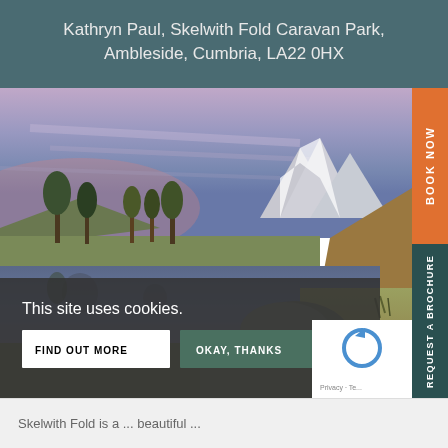Kathryn Paul, Skelwith Fold Caravan Park, Ambleside, Cumbria, LA22 0HX
[Figure (photo): Landscape photograph of a mountain lake scene at dusk with pink and blue sky, snow-capped mountains in the background, trees reflected in still water, and a large rock in the foreground. Cookie consent banner overlaid at the bottom.]
This site uses cookies.
FIND OUT MORE
OKAY, THANKS
BOOK NOW
REQUEST A BROCHURE
Skelwith Fold is a ... beautiful ...